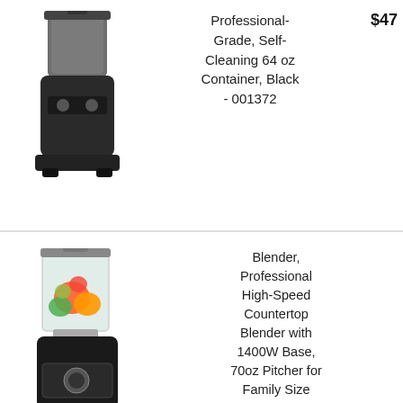[Figure (photo): Black professional blender with 64 oz container, partially cropped at top]
Professional-Grade, Self-Cleaning 64 oz Container, Black - 001372
$47
[Figure (photo): Professional high-speed countertop blender with clear 70oz pitcher containing fruits and vegetables, black base with control panel]
Blender, Professional High-Speed Countertop Blender with 1400W Base, 70oz Pitcher for Family Size Frozen Drinks and Smoothies, Easy Self-Cleaning, 35000 RPM, Built-in Pulse, Aicok